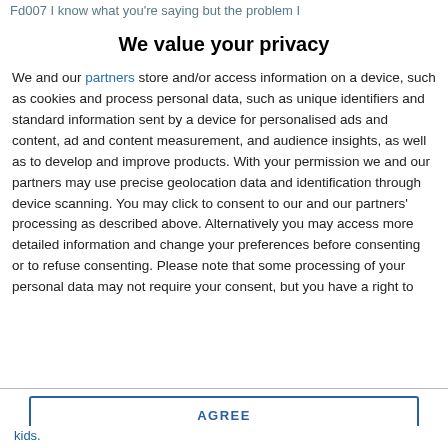Fd007 I know what you're saying but the problem I
We value your privacy
We and our partners store and/or access information on a device, such as cookies and process personal data, such as unique identifiers and standard information sent by a device for personalised ads and content, ad and content measurement, and audience insights, as well as to develop and improve products. With your permission we and our partners may use precise geolocation data and identification through device scanning. You may click to consent to our and our partners' processing as described above. Alternatively you may access more detailed information and change your preferences before consenting or to refuse consenting. Please note that some processing of your personal data may not require your consent, but you have a right to
AGREE
MORE OPTIONS
kids.